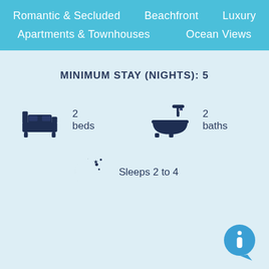Romantic & Secluded
Beachfront
Luxury
Apartments & Townhouses
Ocean Views
MINIMUM STAY (NIGHTS): 5
[Figure (infographic): Bed icon with label '2 beds', bathtub icon with label '2 baths', crescent moon/stars icon with label 'Sleeps 2 to 4', and an info button circle in the bottom right.]